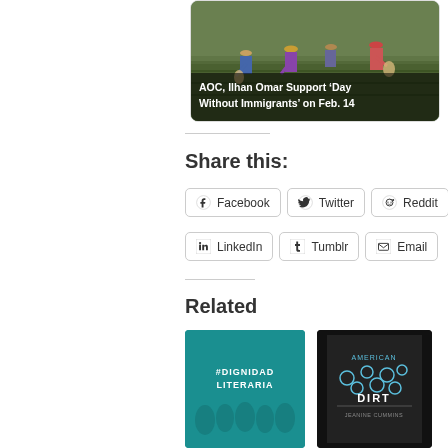[Figure (photo): Farm workers picking crops in a field, with overlay text: AOC, Ilhan Omar Support 'Day Without Immigrants' on Feb. 14]
Share this:
Facebook
Twitter
Reddit
LinkedIn
Tumblr
Email
Related
[Figure (photo): #DIGNIDADLITERARIA teal graphic with text]
[Figure (photo): American Dirt book cover by Jeanine Cummins]